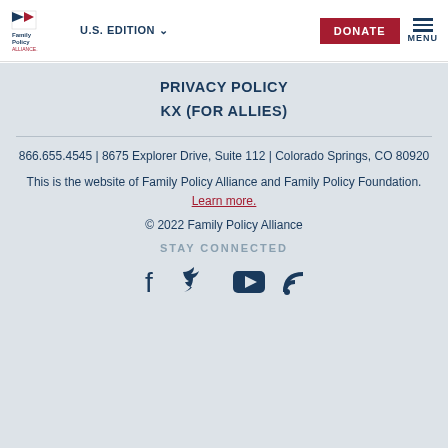Family Policy Alliance | U.S. EDITION | DONATE | MENU
PRIVACY POLICY
KX (FOR ALLIES)
866.655.4545 | 8675 Explorer Drive, Suite 112 | Colorado Springs, CO 80920
This is the website of Family Policy Alliance and Family Policy Foundation. Learn more.
© 2022 Family Policy Alliance
STAY CONNECTED
[Figure (illustration): Social media icons: Facebook, Twitter, YouTube, RSS feed]